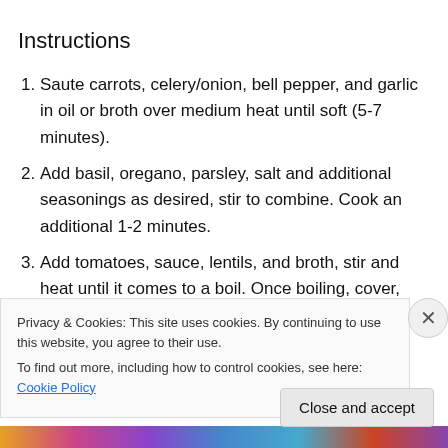Instructions
Saute carrots, celery/onion, bell pepper, and garlic in oil or broth over medium heat until soft (5-7 minutes).
Add basil, oregano, parsley, salt and additional seasonings as desired, stir to combine. Cook an additional 1-2 minutes.
Add tomatoes, sauce, lentils, and broth, stir and heat until it comes to a boil. Once boiling, cover, and reduce heat to low.
Privacy & Cookies: This site uses cookies. By continuing to use this website, you agree to their use.
To find out more, including how to control cookies, see here: Cookie Policy
Close and accept